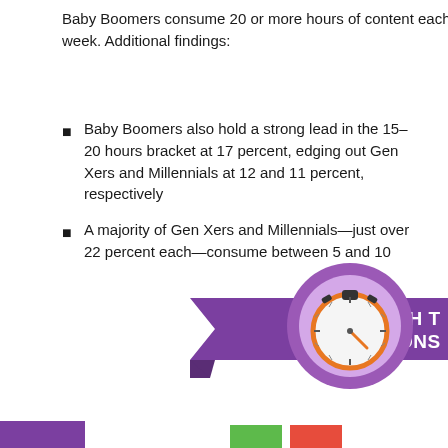Baby Boomers consume 20 or more hours of content each week. Additional findings:
Baby Boomers also hold a strong lead in the 15–20 hours bracket at 17 percent, edging out Gen Xers and Millennials at 12 and 11 percent, respectively
A majority of Gen Xers and Millennials—just over 22 percent each—consume between 5 and 10 hours per week
Less than 10 percent of Gen Xers consume less than five hours of content a week—the lowest of all three groups
[Figure (infographic): Purple ribbon banner with a stopwatch icon and partially visible text 'HOW MUCH T... SPEND CONS...' with colored bars at bottom]